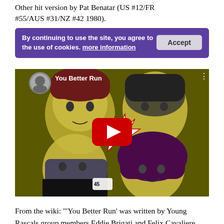Other hit version by Pat Benatar (US #12/FR #55/AUS #31/NZ #42 1980).
[Figure (screenshot): Cookie consent banner with purple background overlaying a YouTube video embed. Banner text: 'By continuing to use the site, you agree to the use of cookies. more information' with an Accept button. Below is a YouTube video thumbnail showing a comic-book style illustration of The Young Rascals band members with a red YouTube play button centered.]
From the wiki: "'You Better Run' was written by Young Rascals group members Eddie Brigati and Felix Cavaliere, and was released as the band's third single in 1966. It reached the top 20 in the